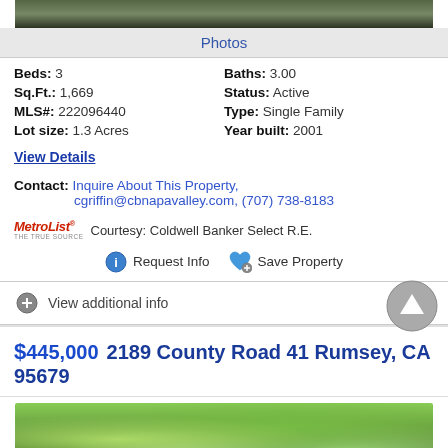[Figure (photo): Top portion of a property photo showing green landscape/vegetation]
Photos
Beds: 3   Baths: 3.00
Sq.Ft.: 1,669   Status: Active
MLS#: 222096440   Type: Single Family
Lot size: 1.3 Acres   Year built: 2001
View Details
Contact: Inquire About This Property, cgriffin@cbnapavalley.com, (707) 738-8183
MetroList Courtesy: Coldwell Banker Select R.E.
Request Info   Save Property
View additional info
$445,000  2189 County Road 41 Rumsey, CA 95679
[Figure (photo): Property photo showing trees and green landscape]